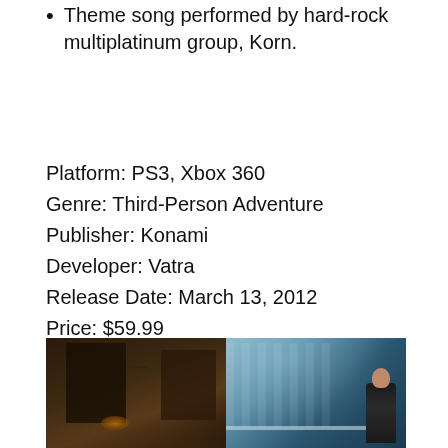Theme song performed by hard-rock multiplatinum group, Korn.
Platform: PS3, Xbox 360
Genre: Third-Person Adventure
Publisher: Konami
Developer: Vatra
Release Date: March 13, 2012
Price: $59.99
Rating: Mature
[Figure (photo): Two side-by-side game screenshots: left shows a dark atmospheric alley/street scene with warm orange glow and overhead wires; right shows an icy indoor scene with a character in dark clothing standing near a railing.]